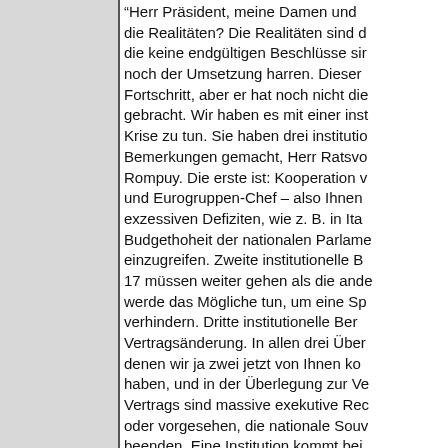"Herr Präsident, meine Damen und die Realitäten? Die Realitäten sind d die keine endgültigen Beschlüsse sir noch der Umsetzung harren. Dieser Fortschritt, aber er hat noch nicht die gebracht. Wir haben es mit einer inst Krise zu tun. Sie haben drei institutio Bemerkungen gemacht, Herr Ratsvo Rompuy. Die erste ist: Kooperation v und Eurogruppen-Chef – also Ihnen exzessiven Defiziten, wie z. B. in Ita Budgethoheit der nationalen Parlame einzugreifen. Zweite institutionelle B 17 müssen weiter gehen als die ande werde das Mögliche tun, um eine Sp verhindern. Dritte institutionelle Ber Vertragsänderung. In allen drei Über denen wir ja zwei jetzt von Ihnen ko haben, und in der Überlegung zur Ve Vertrags sind massive exekutive Rec oder vorgesehen, die nationale Souv beenden. Eine Institution kommt bei Überlegungen allerdings nicht vor: d Parlament, die Plattform der europäi Demokratie. Und jetzt sage ich Ihne